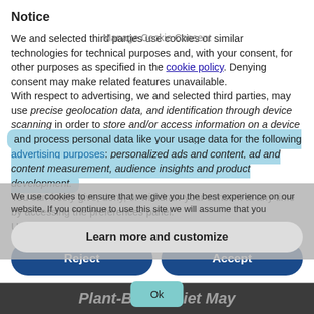Notice
We and selected third parties use cookies or similar technologies for technical purposes and, with your consent, for other purposes as specified in the cookie policy. Denying consent may make related features unavailable.
With respect to advertising, we and selected third parties, may use precise geolocation data, and identification through device scanning in order to store and/or access information on a device and process personal data like your usage data for the following advertising purposes: personalized ads and content, ad and content measurement, audience insights and product development.
You can freely give, deny, or withdraw your consent at any time by accessing the preferences panel.
Use the “Accept” button to consent to the use of such
Manage Cookie Consent
Reject
Accept
We use cookies to ensure that we give you the best experience on our website. If you continue to use this site we will assume that you
Learn more and customize
Ok
Plant-Based Diet May